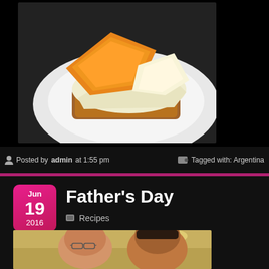[Figure (photo): A dessert dish — cheese or flan with orange gelatin/quince on a white plate, viewed from above on a dark background]
Posted by admin at 1:55 pm
Tagged with: Argentina
Jun 19 2016
Father's Day
Recipes
[Figure (photo): Two people — an older man with glasses and a younger man — selfie photo with a warm interior background]